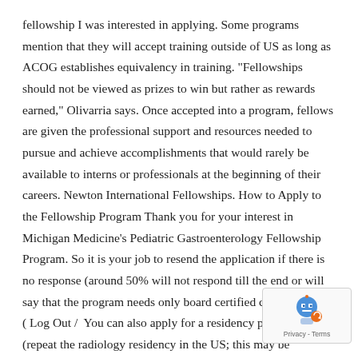fellowship I was interested in applying. Some programs mention that they will accept training outside of US as long as ACOG establishes equivalency in training. "Fellowships should not be viewed as prizes to win but rather as rewards earned," Olivarria says. Once accepted into a program, fellows are given the professional support and resources needed to pursue and achieve accomplishments that would rarely be available to interns or professionals at the beginning of their careers. Newton International Fellowships. How to Apply to the Fellowship Program Thank you for your interest in Michigan Medicine's Pediatric Gastroenterology Fellowship Program. So it is your job to resend the application if there is no response (around 50% will not respond till the end or will say that the program needs only board certified candidates). 1. ( Log Out /  You can also apply for a residency program match (repeat the radiology residency in the US; this may be preferred by many over the uncertainties of a
[Figure (other): reCAPTCHA badge with blue/grey robot icon and Privacy - Terms text]